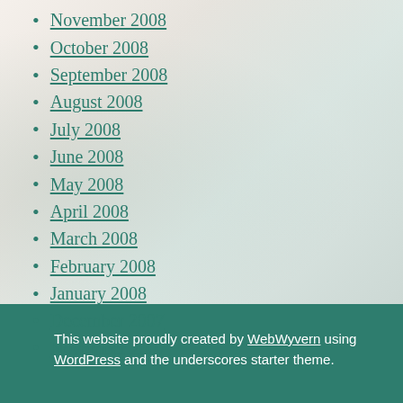November 2008
October 2008
September 2008
August 2008
July 2008
June 2008
May 2008
April 2008
March 2008
February 2008
January 2008
December 2007
November 2007
This website proudly created by WebWyvern using WordPress and the underscores starter theme.